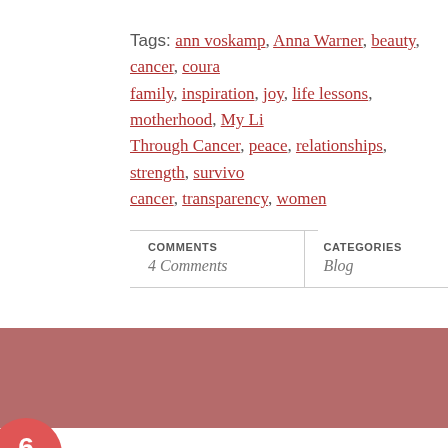Tags: ann voskamp, Anna Warner, beauty, cancer, courage, family, inspiration, joy, life lessons, motherhood, My Life Through Cancer, peace, relationships, strength, surviving cancer, transparency, women
| COMMENTS | CATEGORIES |
| --- | --- |
| 4 Comments | Blog |
[Figure (other): Decorative banner strip in muted rose/mauve color]
Beauty and Terror